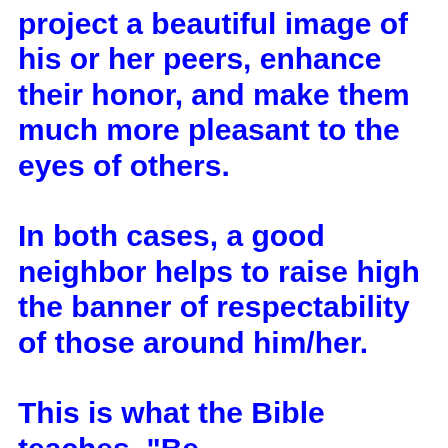project a beautiful image of his or her peers, enhance their honor, and make them much more pleasant to the eyes of others.

In both cases, a good neighbor helps to raise high the banner of respectability of those around him/her.

This is what the Bible teaches. "Be...